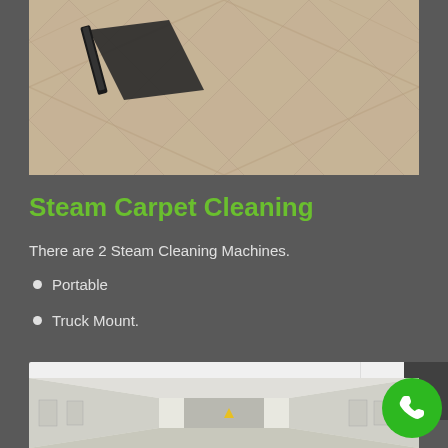[Figure (photo): Close-up photo of carpet being cleaned with a steam cleaning wand/tool, showing a dark triangular cleaning head on light beige carpet with a diamond/chevron pattern.]
Steam Carpet Cleaning
There are 2 Steam Cleaning Machines.
Portable
Truck Mount.
read more
[Figure (photo): Interior corridor/hallway photo showing a long passage with white walls, doors on either side, and yellow safety equipment visible at the far end.]